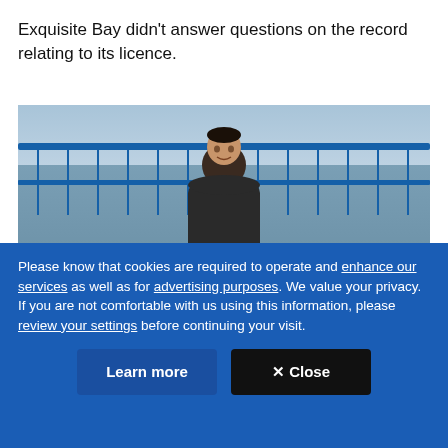Exquisite Bay didn't answer questions on the record relating to its licence.
[Figure (photo): A man standing in front of a blue wire mesh fence outdoors, wearing a dark jacket, with cloudy sky in background.]
Please know that cookies are required to operate and enhance our services as well as for advertising purposes. We value your privacy. If you are not comfortable with us using this information, please review your settings before continuing your visit.